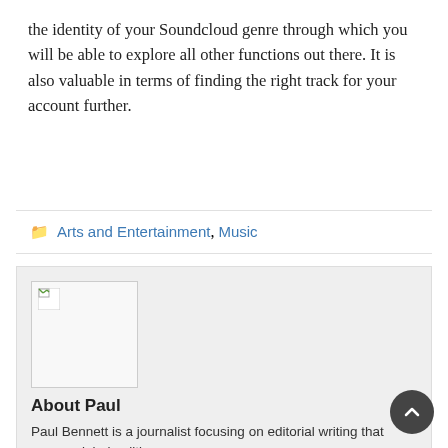the identity of your Soundcloud genre through which you will be able to explore all other functions out there. It is also valuable in terms of finding the right track for your account further.
Arts and Entertainment, Music
[Figure (photo): Author avatar placeholder image (broken image icon)]
About Paul
Paul Bennett is a journalist focusing on editorial writing that covers global politics.
View all posts by Paul →